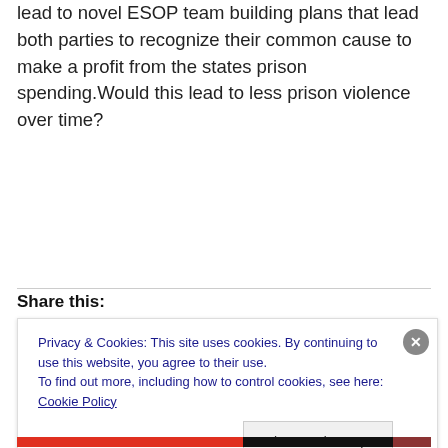lead to novel ESOP team building plans that lead both parties to recognize their common cause to make a profit from the states prison spending.Would this lead to less prison violence over time?
Share this:
Privacy & Cookies: This site uses cookies. By continuing to use this website, you agree to their use.
To find out more, including how to control cookies, see here: Cookie Policy